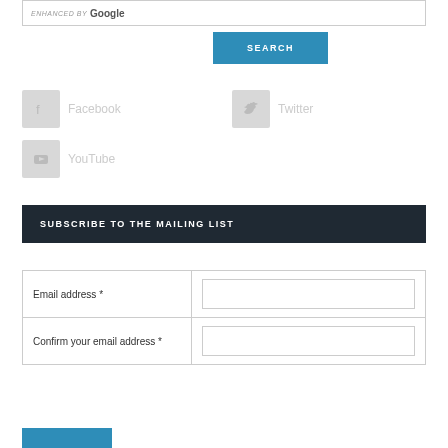[Figure (screenshot): Google search bar with 'ENHANCED BY Google' text]
SEARCH
[Figure (infographic): Social media icons: Facebook, Twitter, YouTube with gray placeholder icons and light gray labels]
SUBSCRIBE TO THE MAILING LIST
| Label | Input |
| --- | --- |
| Email address * |  |
| Confirm your email address * |  |